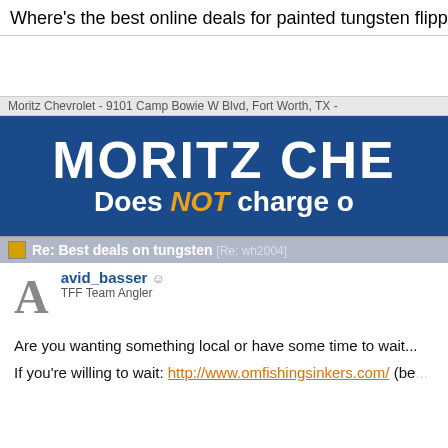Where's the best online deals for painted tungsten flipping ar...
[Figure (infographic): Moritz Chevrolet advertisement banner. Gray label bar reads 'Moritz Chevrolet - 9101 Camp Bowie W Blvd, Fort Worth, TX -'. Blue banner with white bold text 'MORITZ CHE' and below 'Does NOT charge o' where NOT is in orange/yellow italic.]
Re: Best deals on tungsten [Re: wh2004]
avid_basser
TFF Team Angler
Are you wanting something local or have some time to wait...
If you're willing to wait: http://www.omfishingsinkers.com/ (be...